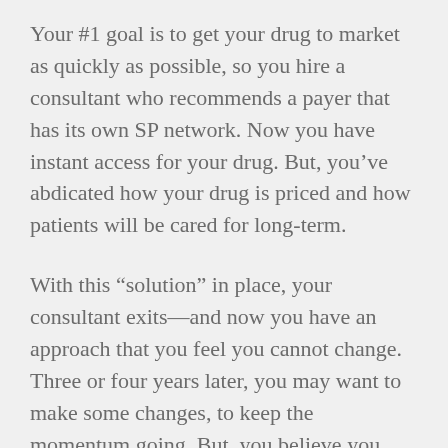Your #1 goal is to get your drug to market as quickly as possible, so you hire a consultant who recommends a payer that has its own SP network. Now you have instant access for your drug. But, you've abdicated how your drug is priced and how patients will be cared for long-term.
With this “solution” in place, your consultant exits—and now you have an approach that you feel you cannot change. Three or four years later, you may want to make some changes, to keep the momentum going. But, you believe you cannot.